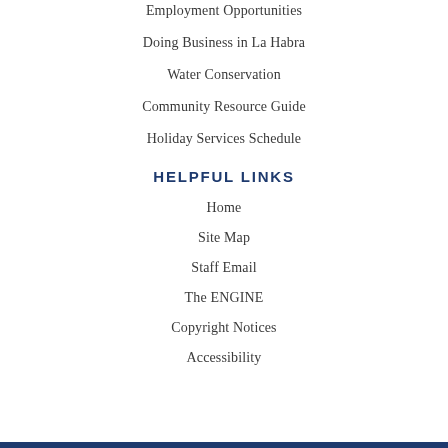Employment Opportunities
Doing Business in La Habra
Water Conservation
Community Resource Guide
Holiday Services Schedule
HELPFUL LINKS
Home
Site Map
Staff Email
The ENGINE
Copyright Notices
Accessibility